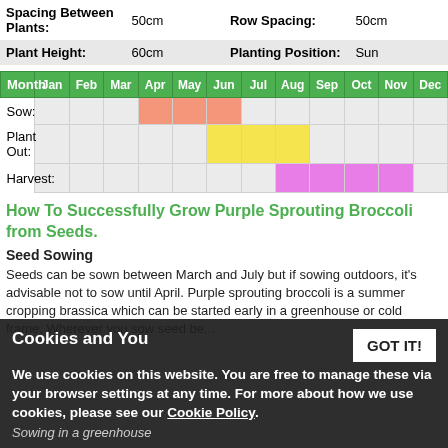| Spacing Between Plants: | 50cm | Row Spacing: | 50cm |
| --- | --- | --- | --- |
| Plant Height: | 60cm | Planting Position: | Sun |
[Figure (table-as-image): Planting calendar showing Sow (Apr-Jun), Plant Out (Jun-Aug), Harvest (Aug-Oct) months in a 12-month color-coded grid]
How To Successfully Grow Purple Sprouting Broccoli from Seeds.
Seed Sowing
Seeds can be sown between March and July but if sowing outdoors, it's advisable not to sow until April. Purple sprouting broccoli is a summer cropping brassica which can be started early in a greenhouse or cold frame. Wherever you sow seed be...
Sowing in a greenhouse